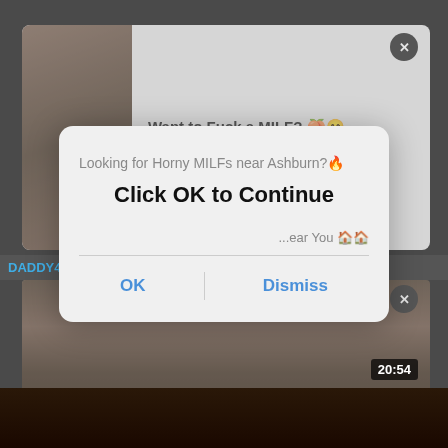[Figure (screenshot): Adult content video thumbnail with woman in dark clothing]
Want to Fuck a MILF? 🍑😊
Horny MILFs in Ashburn 🏠🏠
DADDY4K. Smart old man convinces sons red-haired GF to
[Figure (screenshot): Adult content video thumbnail with woman seated]
Looking for Horny MILFs near Ashburn? 🔥
Click OK to Continue
...ear You 🏠🏠
OK
Dismiss
[Figure (screenshot): Adult content video with timestamp 20:54]
20:54